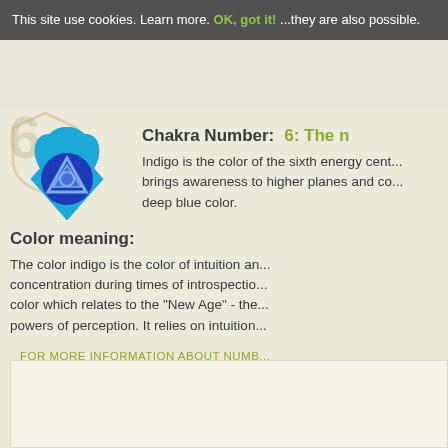This site use cookies. Learn more. OK, got it. ...they are also possible.
[Figure (illustration): Third eye chakra symbol - blue lotus with indigo triangle inside]
Chakra Number: 6: The n...
Indigo is the color of the sixth energy cent... brings awareness to higher planes and co... deep blue color.
Color meaning:
The color indigo is the color of intuition an... concentration during times of introspectio... color which relates to the "New Age" - the... powers of perception. It relies on intuition...
FOR MORE INFORMATION ABOUT NUMB...